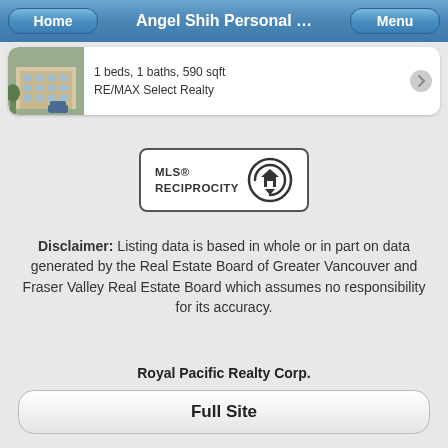Angel Shih Personal ...
1 beds, 1 baths, 590 sqft
RE/MAX Select Realty
[Figure (logo): MLS Reciprocity logo — rounded rectangle border with 'MLS® RECIPROCITY' text and a house icon]
Disclaimer: Listing data is based in whole or in part on data generated by the Real Estate Board of Greater Vancouver and Fraser Valley Real Estate Board which assumes no responsibility for its accuracy.
Royal Pacific Realty Corp.
#550 N Tower, 650 W. 41st Ave, Vancouver BC
604.715.8999
Full Site